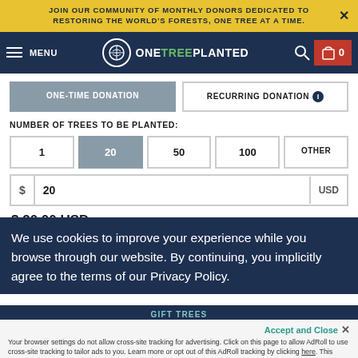JOIN OUR COMMUNITY OF MONTHLY DONORS DEDICATED TO RESTORING THE WORLD'S FORESTS, ONE TREE AT A TIME.
[Figure (screenshot): OneTreePlanted navigation bar with hamburger menu, logo, search icon, and cart showing 0 items]
ONE-TIME DONATION | RECURRING DONATION
NUMBER OF TREES TO BE PLANTED:
1 | 20 | 50 | 100 | OTHER
$ 20 USD
$ 20.00 USD
We use cookies to improve your experience while you browse through our website. By continuing, you implicitly agree to the terms of our Privacy Policy.
GIFT TREES
Accept and Close
Your browser settings do not allow cross-site tracking for advertising. Click on this page to allow AdRoll to use cross-site tracking to tailor ads to you. Learn more or opt out of this AdRoll tracking by clicking here. This message only appears once.